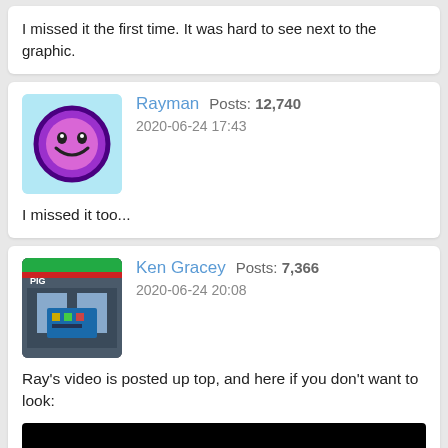I missed it the first time. It was hard to see next to the graphic.
Rayman  Posts: 12,740
2020-06-24 17:43
I missed it too...
Ken Gracey  Posts: 7,366
2020-06-24 20:08
Ray's video is posted up top, and here if you don't want to look:
[Figure (screenshot): Video preview with dark background showing a slide titled '* Example output photos']